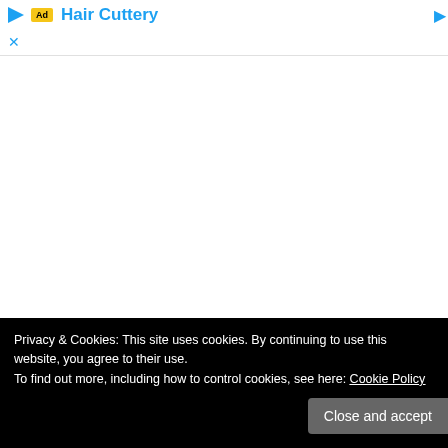Hair Cuttery
Privacy & Cookies: This site uses cookies. By continuing to use this website, you agree to their use.
To find out more, including how to control cookies, see here: Cookie Policy
Close and accept